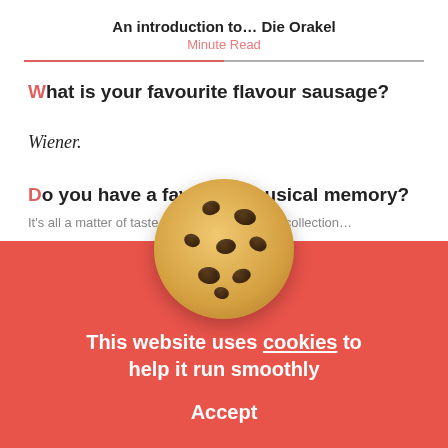An introduction to… Die Orakel
Minute Read
What is your favourite flavour sausage?
Wiener.
Do you have a favourite musical memory?
[Figure (photo): A chocolate chip cookie illustration rendered as a round, golden-brown cookie with dark chocolate chips on a red background overlay.]
This website uses cookies to help it run smoothly
Accept